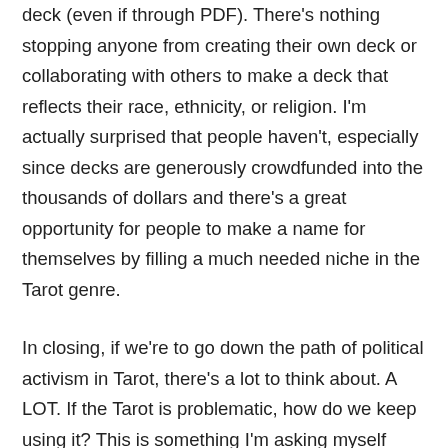deck (even if through PDF). There's nothing stopping anyone from creating their own deck or collaborating with others to make a deck that reflects their race, ethnicity, or religion. I'm actually surprised that people haven't, especially since decks are generously crowdfunded into the thousands of dollars and there's a great opportunity for people to make a name for themselves by filling a much needed niche in the Tarot genre.
In closing, if we're to go down the path of political activism in Tarot, there's a lot to think about. A LOT. If the Tarot is problematic, how do we keep using it? This is something I'm asking myself after 22 years of reading (putting me back on the path of The Fool, a new direction).